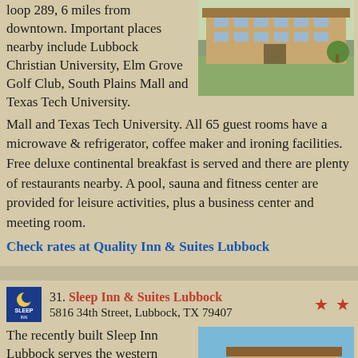loop 289, 6 miles from downtown. Important places nearby include Lubbock Christian University, Elm Grove Golf Club, South Plains Mall and Texas Tech University. All 65 guest rooms have a microwave & refrigerator, coffee maker and ironing facilities. Free deluxe continental breakfast is served and there are plenty of restaurants nearby. A pool, sauna and fitness center are provided for leisure activities, plus a business center and meeting room.
[Figure (photo): Exterior photo of Quality Inn & Suites Lubbock hotel building with grassy lawn]
Check rates at Quality Inn & Suites Lubbock
[Figure (logo): Sleep Inn logo square icon]
31. Sleep Inn & Suites Lubbock
5816 34th Street, Lubbock, TX 79407
The recently built Sleep Inn Lubbock serves the western approach to the city along US 82 - the hotel is a short distance north on Loop 289, at the edge of a residential district near
[Figure (photo): Exterior photo of Sleep Inn & Suites Lubbock hotel building under blue sky with Sleep Inn sign visible]